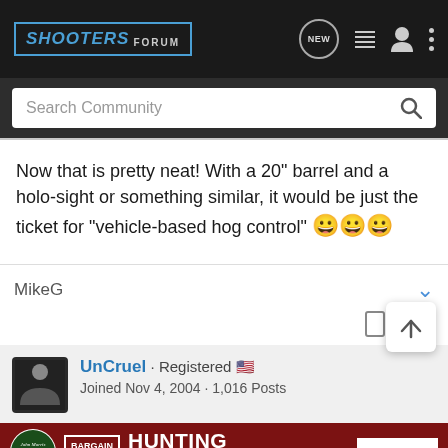[Figure (screenshot): Shooters Forum navigation bar with logo, NEW button, list icon, user icon, and three-dot menu]
[Figure (screenshot): Search Community search bar]
Now that is pretty neat! With a 20" barrel and a holo-sight or something similar, it would be just the ticket for "vehicle-based hog control" 😀😀😀
MikeG
UnCruel · Registered 🇺🇸
Joined Nov 4, 2004 · 1,016 Posts
[Figure (other): Bass Pro Shops Hunting Bargain Clearance advertisement banner with Shop Now button]
#3 · Mar...